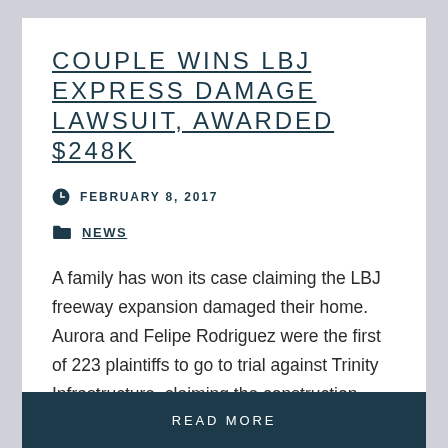COUPLE WINS LBJ EXPRESS DAMAGE LAWSUIT, AWARDED $248K
FEBRUARY 8, 2017
NEWS
A family has won its case claiming the LBJ freeway expansion damaged their home. Aurora and Felipe Rodriguez were the first of 223 plaintiffs to go to trial against Trinity Infrastructure, claiming the construction caused the homes to shift and crack. The jury awarded them $248,000 to rebuild
READ MORE